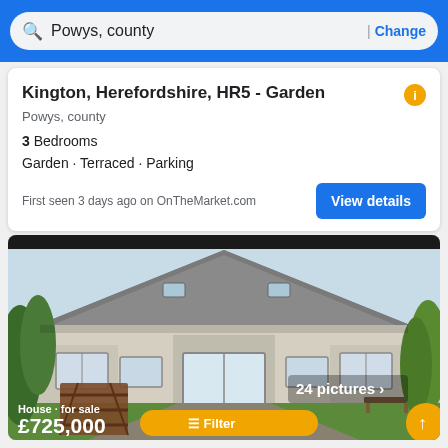Powys, county | Change
Kington, Herefordshire, HR5 - Garden
Powys, county
3 Bedrooms
Garden · Terraced · Parking
First seen 3 days ago on OnTheMarket.com
[Figure (photo): Exterior photo of a bungalow-style house with grey slate roof, white rendered walls, wooden gate in foreground, garden lawn, showing '24 pictures' badge and price £725,000. House for sale. Filter button visible at bottom.]